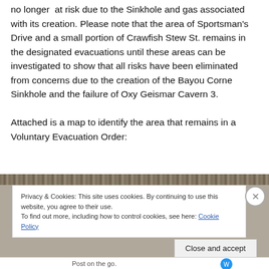no longer at risk due to the Sinkhole and gas associated with its creation. Please note that the area of Sportsman's Drive and a small portion of Crawfish Stew St. remains in the designated evacuations until these areas can be investigated to show that all risks have been eliminated from concerns due to the creation of the Bayou Corne Sinkhole and the failure of Oxy Geismar Cavern 3.

Attached is a map to identify the area that remains in a Voluntary Evacuation Order:
[Figure (screenshot): Screenshot of an embedded map partially obscured by a cookie consent dialog. The top of the map image is visible as a textured dark bar. A white cookie notice box overlays the map stating privacy and cookie policy information, with a 'Close and accept' button and an X close button.]
Privacy & Cookies: This site uses cookies. By continuing to use this website, you agree to their use.
To find out more, including how to control cookies, see here: Cookie Policy
Post on the go.